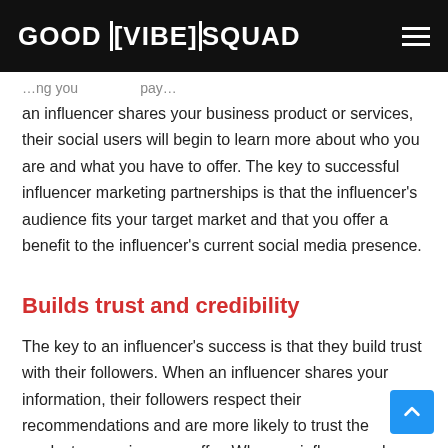GOOD VIBE SQUAD
an influencer shares your business product or services, their social users will begin to learn more about who you are and what you have to offer. The key to successful influencer marketing partnerships is that the influencer's audience fits your target market and that you offer a benefit to the influencer's current social media presence.
Builds trust and credibility
The key to an influencer's success is that they build trust with their followers. When an influencer shares your information, their followers respect their recommendations and are more likely to trust the product or services you offer. When an influencer shares your brand, it creates a